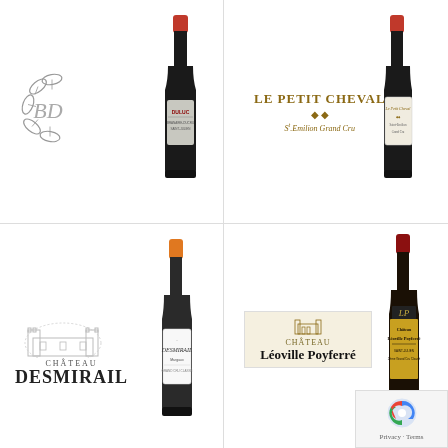[Figure (photo): BD ornate leaf logo with wine bottle labeled DULUC in top-left quadrant]
[Figure (photo): Le Petit Cheval Saint-Emilion Grand Cru label and wine bottle in top-right quadrant]
[Figure (photo): Chateau Desmirail logo and wine bottle with orange cap in bottom-left quadrant]
[Figure (photo): Chateau Leoville Poyferré label and wine bottle in bottom-right quadrant with privacy/terms badge]